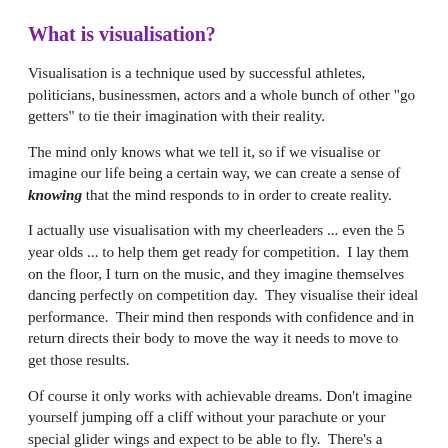What is visualisation?
Visualisation is a technique used by successful athletes, politicians, businessmen, actors and a whole bunch of other "go getters" to tie their imagination with their reality.
The mind only knows what we tell it, so if we visualise or imagine our life being a certain way, we can create a sense of knowing that the mind responds to in order to create reality.
I actually use visualisation with my cheerleaders ... even the 5 year olds ... to help them get ready for competition.  I lay them on the floor, I turn on the music, and they imagine themselves dancing perfectly on competition day.  They visualise their ideal performance.  Their mind then responds with confidence and in return directs their body to move the way it needs to move to get those results.
Of course it only works with achievable dreams. Don't imagine yourself jumping off a cliff without your parachute or your special glider wings and expect to be able to fly.  There's a wisdom